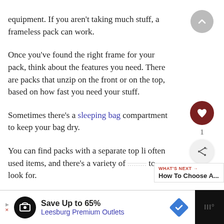equipment. If you aren't taking much stuff, a frameless pack can work.
Once you've found the right frame for your pack, think about the features you need. There are packs that unzip on the front or on the top, based on how fast you need your stuff.
Sometimes there's a sleeping bag compartment to keep your bag dry.
You can find packs with a separate top l' often used items, and there's a variety of pockets to look for.